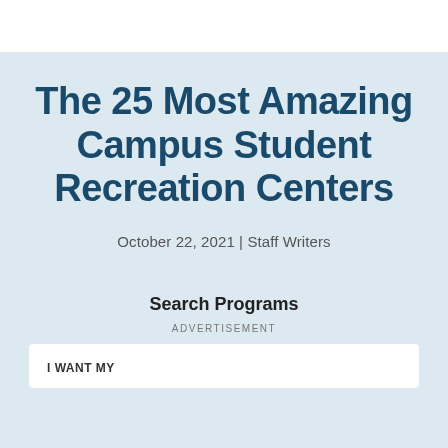The 25 Most Amazing Campus Student Recreation Centers
October 22, 2021 | Staff Writers
Search Programs
ADVERTISEMENT
I WANT MY